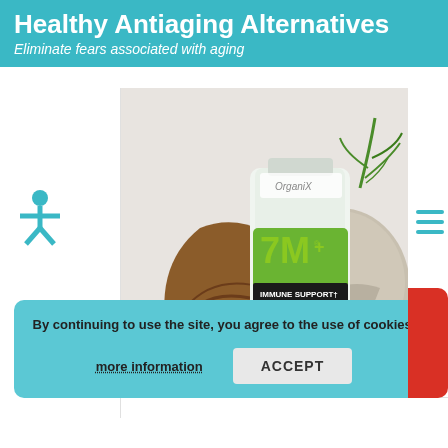Healthy Antiaging Alternatives
Eliminate fears associated with aging
[Figure (photo): Product photo of OrganiX 7M+ Immune Support dietary supplement bottle surrounded by various mushrooms including portobello and oyster mushrooms with herbs]
By continuing to use the site, you agree to the use of cookies.
more information
ACCEPT